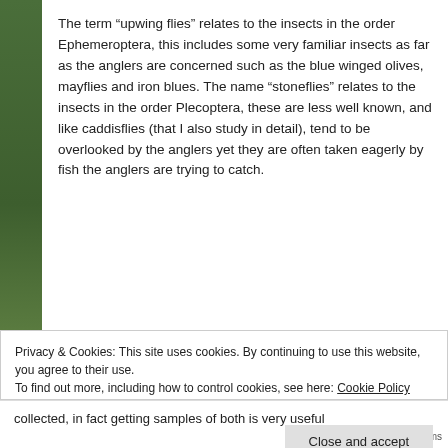The term “upwing flies” relates to the insects in the order Ephemeroptera, this includes some very familiar insects as far as the anglers are concerned such as the blue winged olives, mayflies and iron blues. The name “stoneflies” relates to the insects in the order Plecoptera, these are less well known, and like caddisflies (that I also study in detail), tend to be overlooked by the anglers yet they are often taken eagerly by fish the anglers are trying to catch.
Privacy & Cookies: This site uses cookies. By continuing to use this website, you agree to their use.
To find out more, including how to control cookies, see here: Cookie Policy
Close and accept
collected, in fact getting samples of both is very useful